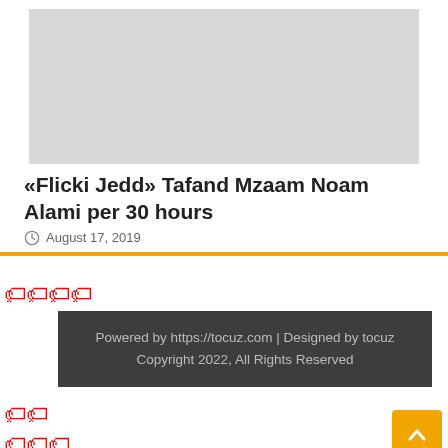[Figure (photo): Gray placeholder image at top of article card]
«Flicki Jedd» Tafand Mzaam Noam Alami per 30 hours
August 17, 2019
[Figure (illustration): Red tag icons decorating the page]
Powered by https://tocuz.com | Designed by tocuz
Copyright 2022, All Rights Reserved